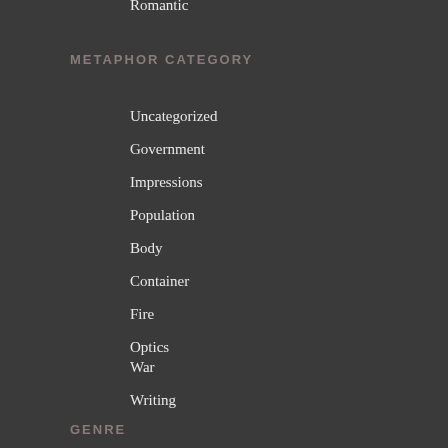Romantic
METAPHOR CATEGORY
Uncategorized
Government
Impressions
Population
Body
Container
Fire
Optics
War
Writing
GENRE
Prose
Letter
GENDER OF AUTHOR
Male